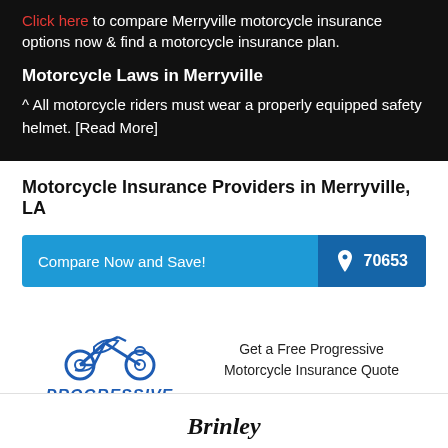Click here to compare Merryville motorcycle insurance options now & find a motorcycle insurance plan.
Motorcycle Laws in Merryville
^ All motorcycle riders must wear a properly equipped safety helmet. [Read More]
Motorcycle Insurance Providers in Merryville, LA
Compare Now and Save! 70653
[Figure (logo): Progressive motorcycle insurance logo with motorcycle icon above the word PROGRESSIVE in blue italic text]
Get a Free Progressive Motorcycle Insurance Quote
Get a quote now
[Figure (logo): Brindle logo partial view at bottom]